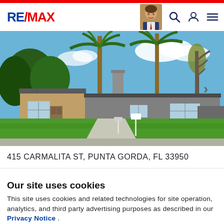[Figure (logo): RE/MAX logo in red and blue]
[Figure (photo): Exterior photo of a residential house at 415 Carmalita St, Punta Gorda FL 33950. Single-story home with gray siding, palm trees in yard, green lawn, sunny day.]
415 CARMALITA ST, PUNTA GORDA, FL 33950
.
Our site uses cookies
This site uses cookies and related technologies for site operation, analytics, and third party advertising purposes as described in our Privacy Notice .
ACCEPT